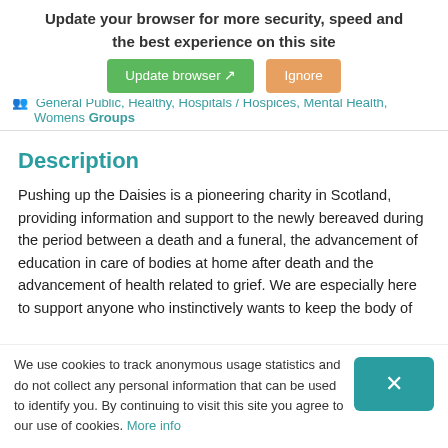Update your browser for more security, speed and the best experience on this site
General Public, Healthy, Hospitals / Hospices, Mental Health, Womens Groups
Description
Pushing up the Daisies is a pioneering charity in Scotland, providing information and support to the newly bereaved during the period between a death and a funeral, the advancement of education in care of bodies at home after death and the advancement of health related to grief. We are especially here to support anyone who instinctively wants to keep the body of their loved one at home (or bring them back home) after their death. In November 2021 we started to take steps towards setting up a service to empower and practically assist people who want to keep someone close in the days after their last breath and be
We use cookies to track anonymous usage statistics and do not collect any personal information that can be used to identify you. By continuing to visit this site you agree to our use of cookies. More info